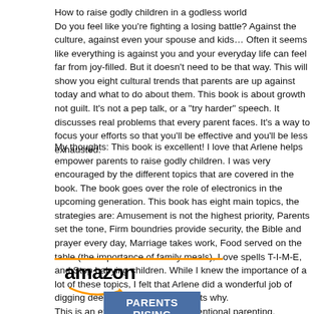How to raise godly children in a godless world
Do you feel like you're fighting a losing battle? Against the culture, against even your spouse and kids… Often it seems like everything is against you and your everyday life can feel far from joy-filled. But it doesn't need to be that way. This will show you eight cultural trends that parents are up against today and what to do about them. This book is about growth not guilt. It's not a pep talk, or a "try harder" speech. It discusses real problems that every parent faces. It's a way to focus your efforts so that you'll be effective and you'll be less exhausted.
My thoughts: This book is excellent! I love that Arlene helps empower parents to raise godly children. I was very encouraged by the different topics that are covered in the book. The book goes over the role of electronics in the upcoming generation. This book has eight main topics, the strategies are: Amusement is not the highest priority, Parents set the tone, Firm boundries provide security, the Bible and prayer every day, Marriage takes work, Food served on the table (the importance of family meals), Love spells T-I-M-E, and Stop babying children. While I knew the importance of a lot of these topics, I felt that Arlene did a wonderful job of digging deeper and showing parents why.
This is an excellent book about intentional parenting.
I received this book from Moody for my honest review.
[Figure (logo): Amazon logo with orange line above and smile arrow below the text]